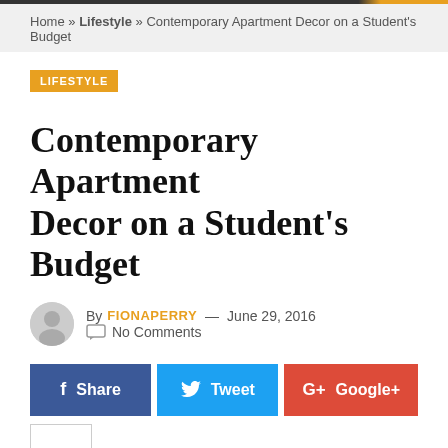Home » Lifestyle » Contemporary Apartment Decor on a Student's Budget
LIFESTYLE
Contemporary Apartment Decor on a Student's Budget
By FIONAPERRY — June 29, 2016  No Comments
[Figure (infographic): Social sharing buttons: Share (Facebook, blue), Tweet (Twitter, light blue), Google+ (red), and a plus (+) button]
[Figure (photo): Partial photo of a contemporary apartment interior in black and white, showing a wall clock, geometric art, and some teal-colored decor items]